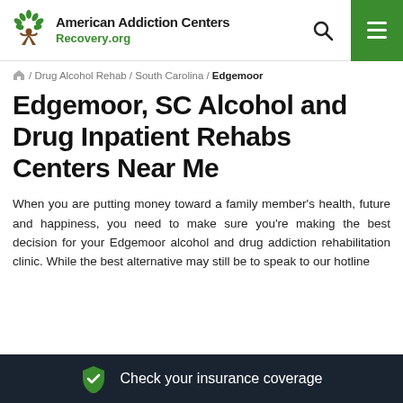American Addiction Centers Recovery.org
/ Drug Alcohol Rehab / South Carolina / Edgemoor
Edgemoor, SC Alcohol and Drug Inpatient Rehabs Centers Near Me
When you are putting money toward a family member's health, future and happiness, you need to make sure you're making the best decision for your Edgemoor alcohol and drug addiction rehabilitation clinic. While the best alternative may still be to speak to our hotline
Check your insurance coverage